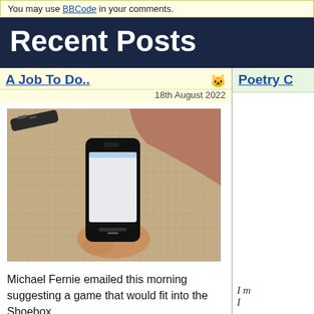You may use BBCode in your comments.
Recent Posts
A Job To Do..
18th August 2022
[Figure (photo): A hand holding a smartphone with a white/blank screen, resting on a woven carpet/rug, with a TV remote visible in the upper left corner.]
Michael Fernie emailed this morning suggesting a game that would fit into the Shoebox.
Poetry C